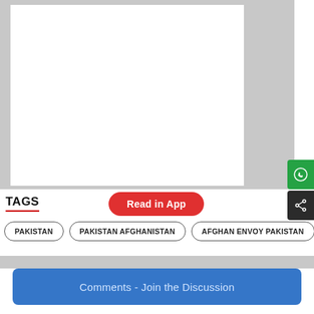[Figure (other): Gray background with white image placeholder box (advertisement area)]
TAGS
Read in App
PAKISTAN
PAKISTAN AFGHANISTAN
AFGHAN ENVOY PAKISTAN
Comments - Join the Discussion